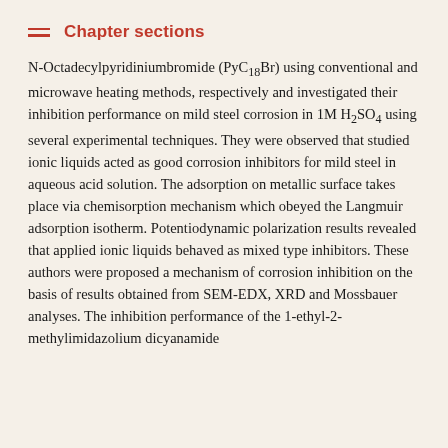Chapter sections
N-Octadecylpyridiniumbromide (PyC18Br) using conventional and microwave heating methods, respectively and investigated their inhibition performance on mild steel corrosion in 1M H₂SO₄ using several experimental techniques. They were observed that studied ionic liquids acted as good corrosion inhibitors for mild steel in aqueous acid solution. The adsorption on metallic surface takes place via chemisorption mechanism which obeyed the Langmuir adsorption isotherm. Potentiodynamic polarization results revealed that applied ionic liquids behaved as mixed type inhibitors. These authors were proposed a mechanism of corrosion inhibition on the basis of results obtained from SEM-EDX, XRD and Mossbauer analyses. The inhibition performance of the 1-ethyl-2-methylimidazolium dicyanamide